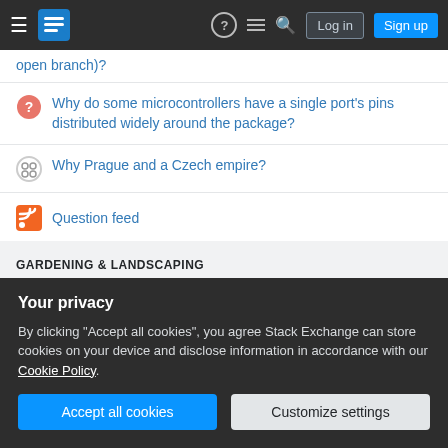Stack Exchange navigation bar with Log in and Sign up buttons
open branch)?
Why do some microcontrollers have a single port's pins distributed widely around the package?
Why Prague and a Czech empire?
Question feed
GARDENING & LANDSCAPING
Tour  Help  Chat  Contact  Feedback
COMPANY
Stack Overflow  Teams  Advertising  Collectives  Talent  About  Press
Your privacy
By clicking "Accept all cookies", you agree Stack Exchange can store cookies on your device and disclose information in accordance with our Cookie Policy.
Accept all cookies  Customize settings